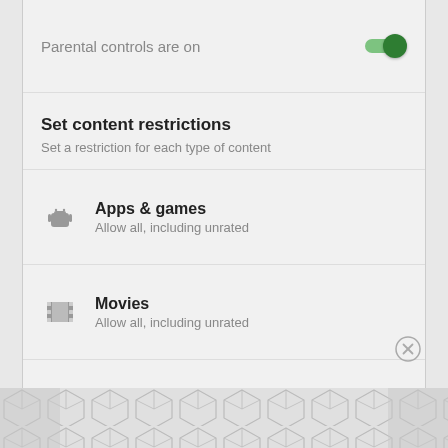Parental controls are on
Set content restrictions
Set a restriction for each type of content
Apps & games
Allow all, including unrated
Movies
Allow all, including unrated
Music
Allow all
[Figure (other): Geometric patterned advertisement banner at the bottom of the screen]